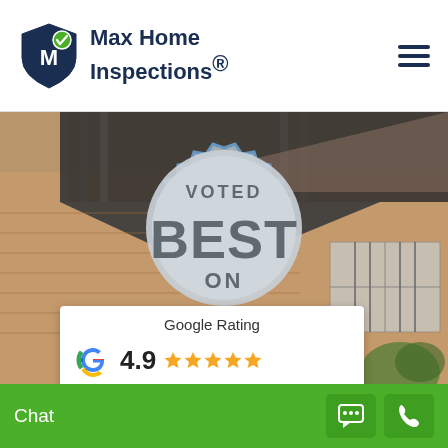[Figure (logo): Max Home Inspections logo with shield icon and company name]
[Figure (photo): Exterior photo of a residential home with brick walls, metal roof panels, and windows, serving as a background image]
[Figure (illustration): Silver and blue 'Voted Best' award badge medallion overlaid on the home photo]
Google Rating
4.9 ★★★★★
Chat